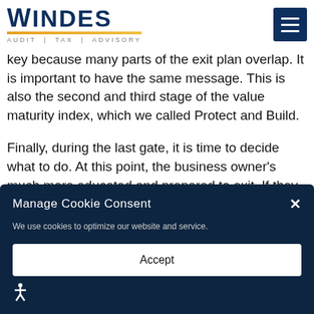WINDES AUDIT | TAX | ADVISORY
key because many parts of the exit plan overlap. It is important to have the same message. This is also the second and third stage of the value maturity index, which we called Protect and Build.
Finally, during the last gate, it is time to decide what to do. At this point, the business owner’s much more educated and prepared to exit. If they decide to keep the business, then the
Manage Cookie Consent
We use cookies to optimize our website and service.
Accept